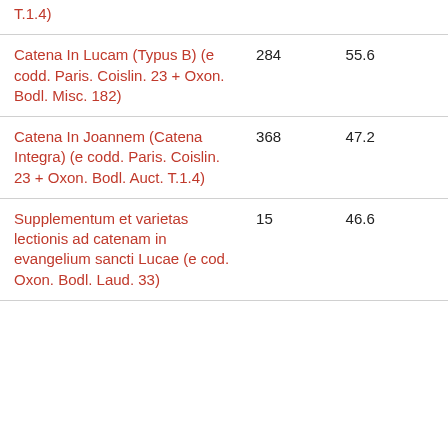| T.1.4) |  |  |
| Catena In Lucam (Typus B) (e codd. Paris. Coislin. 23 + Oxon. Bodl. Misc. 182) | 284 | 55.6 |
| Catena In Joannem (Catena Integra) (e codd. Paris. Coislin. 23 + Oxon. Bodl. Auct. T.1.4) | 368 | 47.2 |
| Supplementum et varietas lectionis ad catenam in evangelium sancti Lucae (e cod. Oxon. Bodl. Laud. 33) | 15 | 46.6 |